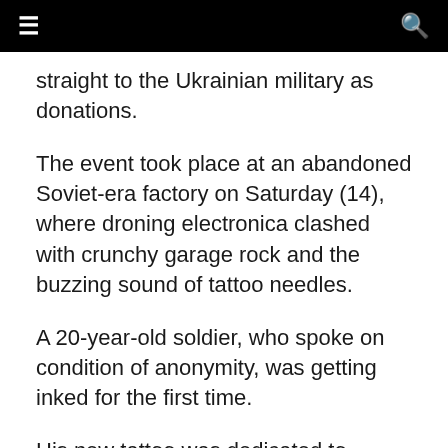☰  🔍
straight to the Ukrainian military as donations.
The event took place at an abandoned Soviet-era factory on Saturday (14), where droning electronica clashed with crunchy garage rock and the buzzing sound of tattoo needles.
A 20-year-old soldier, who spoke on condition of anonymity, was getting inked for the first time.
His new tattoo was dedicated to Ukraine's Azov regiment and the group's fighters — many of whom are under attack at a steel plant in the besieged port city of Mariupol